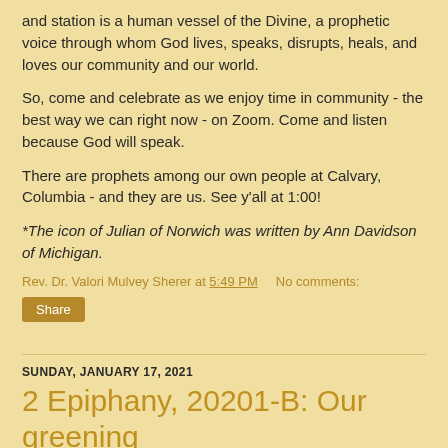and station is a human vessel of the Divine, a prophetic voice through whom God lives, speaks, disrupts, heals, and loves our community and our world.
So, come and celebrate as we enjoy time in community - the best way we can right now - on Zoom. Come and listen because God will speak.
There are prophets among our own people at Calvary, Columbia - and they are us. See y'all at 1:00!
*The icon of Julian of Norwich was written by Ann Davidson of Michigan.
Rev. Dr. Valori Mulvey Sherer at 5:49 PM    No comments:
Share
SUNDAY, JANUARY 17, 2021
2 Epiphany, 20201-B: Our greening
and some text continues below...